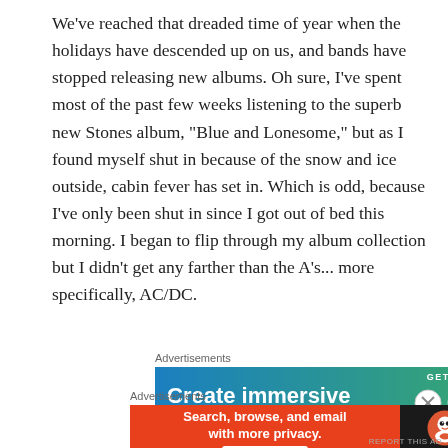We've reached that dreaded time of year when the holidays have descended up on us, and bands have stopped releasing new albums. Oh sure, I've spent most of the past few weeks listening to the superb new Stones album, "Blue and Lonesome," but as I found myself shut in because of the snow and ice outside, cabin fever has set in. Which is odd, because I've only been shut in since I got out of bed this morning. I began to flip through my album collection but I didn't get any farther than the A's... more specifically, AC/DC.
[Figure (other): Advertisement banner: 'Create immersive' text on blue-to-green gradient with WordPress logo and 'GET THE APP' text]
[Figure (other): Advertisement banner: DuckDuckGo ad with orange-red left side reading 'Search, browse, and email with more privacy. All in One Free App' and black right side with DuckDuckGo logo]